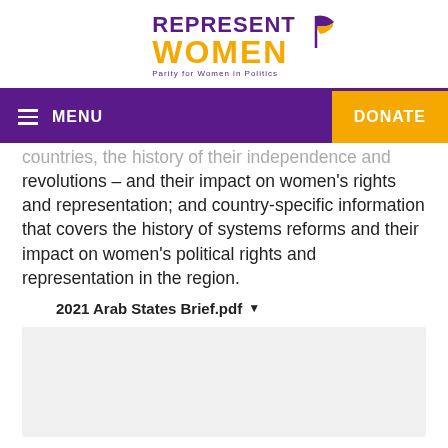[Figure (logo): RepresentWomen logo with text REPRESENT WOMEN and tagline Parity for Women in Politics, with a decorative flag/swoosh graphic in purple and orange]
MENU | DONATE
countries, the history of their independence and revolutions – and their impact on women's rights and representation; and country-specific information that covers the history of systems reforms and their impact on women's political rights and representation in the region.
2021 Arab States Brief.pdf ▾
[Figure (other): Gray placeholder box, likely an embedded PDF preview area]